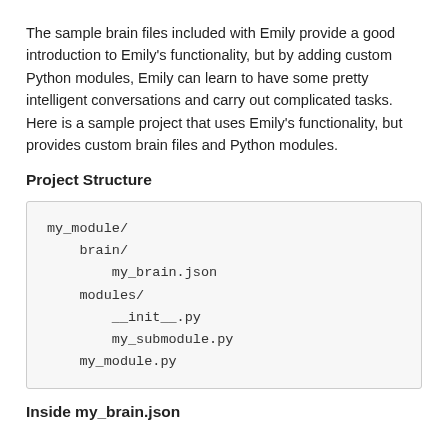The sample brain files included with Emily provide a good introduction to Emily's functionality, but by adding custom Python modules, Emily can learn to have some pretty intelligent conversations and carry out complicated tasks. Here is a sample project that uses Emily's functionality, but provides custom brain files and Python modules.
Project Structure
[Figure (other): Code block showing project directory structure: my_module/ with brain/my_brain.json, modules/__init__.py, modules/my_submodule.py, and my_module.py]
Inside my_brain.json